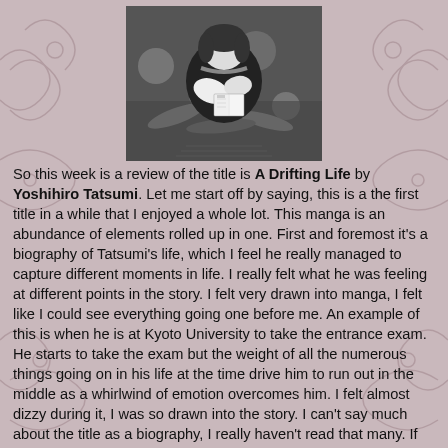[Figure (illustration): Black and white manga illustration showing a person reading a book, surrounded by leaves and bokeh circles, viewed from above.]
So this week is a review of the title is A Drifting Life by Yoshihiro Tatsumi. Let me start off by saying, this is a the first title in a while that I enjoyed a whole lot. This manga is an abundance of elements rolled up in one. First and foremost it's a biography of Tatsumi's life, which I feel he really managed to capture different moments in life. I really felt what he was feeling at different points in the story. I felt very drawn into manga, I felt like I could see everything going one before me. An example of this is when he is at Kyoto University to take the entrance exam. He starts to take the exam but the weight of all the numerous things going on in his life at the time drive him to run out in the middle as a whirlwind of emotion overcomes him. I felt almost dizzy during it, I was so drawn into the story. I can't say much about the title as a biography, I really haven't read that many. If they are all this engrossing though, maybe I should read more of them.